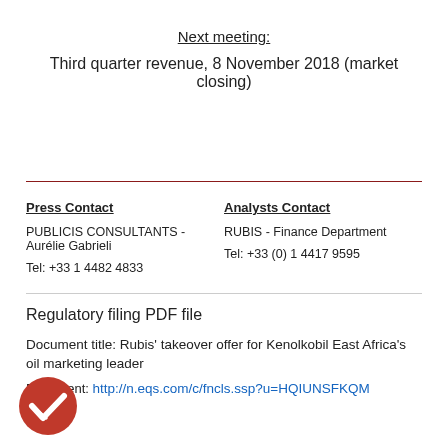Next meeting:
Third quarter revenue, 8 November 2018 (market closing)
Press Contact
PUBLICIS CONSULTANTS - Aurélie Gabrieli
Tel: +33 1 4482 4833
Analysts Contact
RUBIS - Finance Department
Tel: +33 (0) 1 4417 9595
Regulatory filing PDF file
Document title: Rubis' takeover offer for Kenolkobil East Africa's oil marketing leader
Document: http://n.eqs.com/c/fncls.ssp?u=HQIUNSFKQM